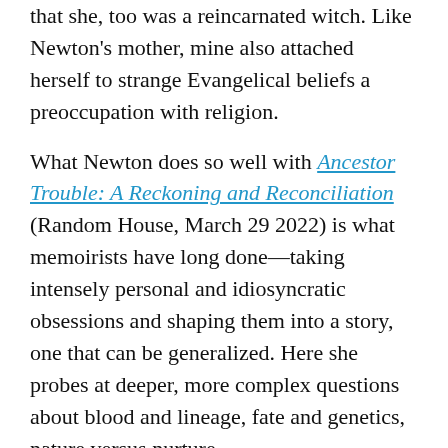that she, too was a reincarnated witch. Like Newton's mother, mine also attached herself to strange Evangelical beliefs a preoccupation with religion.
What Newton does so well with Ancestor Trouble: A Reckoning and Reconciliation (Random House, March 29 2022) is what memoirists have long done—taking intensely personal and idiosyncratic obsessions and shaping them into a story, one that can be generalized. Here she probes at deeper, more complex questions about blood and lineage, fate and genetics, nature versus nurture.
Ancestor Trouble is an extraordinary deep dive into the author's family tree, yes, but it's also immensely researched in terms of historical and scientific relevance. What might become a sticky web of anxiety and dead-ends, Newton tends to leave speculation—